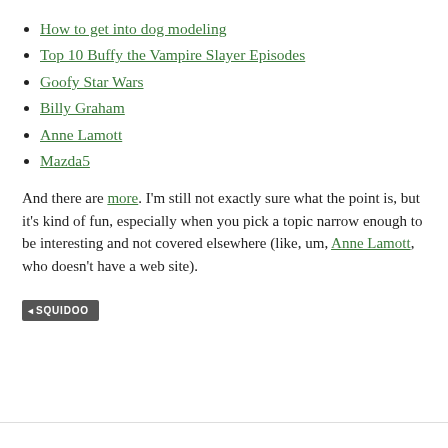How to get into dog modeling
Top 10 Buffy the Vampire Slayer Episodes
Goofy Star Wars
Billy Graham
Anne Lamott
Mazda5
And there are more. I'm still not exactly sure what the point is, but it's kind of fun, especially when you pick a topic narrow enough to be interesting and not covered elsewhere (like, um, Anne Lamott, who doesn't have a web site).
SQUIDOO